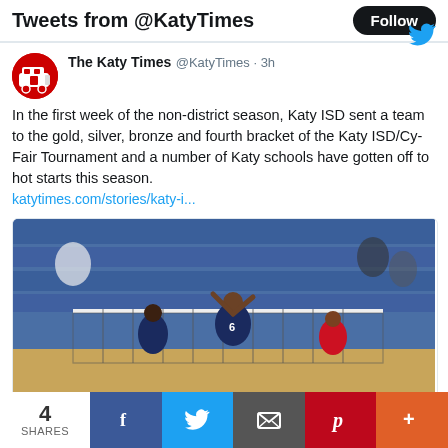Tweets from @KatyTimes
The Katy Times @KatyTimes · 3h
In the first week of the non-district season, Katy ISD sent a team to the gold, silver, bronze and fourth bracket of the Katy ISD/Cy-Fair Tournament and a number of Katy schools have gotten off to hot starts this season.
katytimes.com/stories/katy-i...
[Figure (photo): Volleyball players at net during a match, with spectators in blue bleachers in background]
katytimes.com
4
SHARES